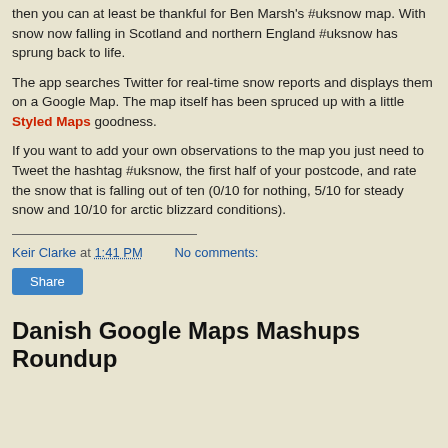then you can at least be thankful for Ben Marsh's #uksnow map. With snow now falling in Scotland and northern England #uksnow has sprung back to life.
The app searches Twitter for real-time snow reports and displays them on a Google Map. The map itself has been spruced up with a little Styled Maps goodness.
If you want to add your own observations to the map you just need to Tweet the hashtag #uksnow, the first half of your postcode, and rate the snow that is falling out of ten (0/10 for nothing, 5/10 for steady snow and 10/10 for arctic blizzard conditions).
Keir Clarke at 1:41 PM   No comments:
Share
Danish Google Maps Mashups Roundup